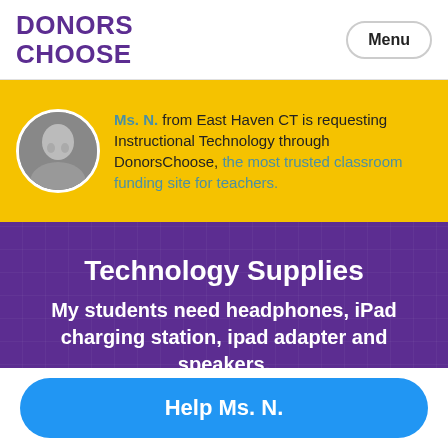DONORS CHOOSE | Menu
Ms. N. from East Haven CT is requesting Instructional Technology through DonorsChoose, the most trusted classroom funding site for teachers.
Technology Supplies
My students need headphones, iPad charging station, ipad adapter and speakers.
HOORAY! THIS PROJECT IS FULLY FUNDED
Keep the momentum going! Make a donation to Ms. N. for her next project!
Help Ms. N.